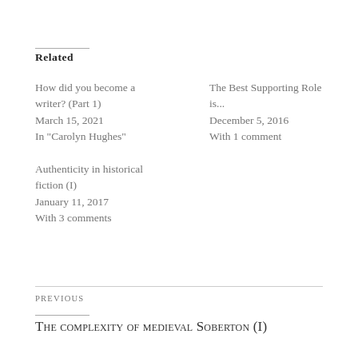Related
How did you become a writer? (Part 1)
March 15, 2021
In "Carolyn Hughes"
The Best Supporting Role is...
December 5, 2016
With 1 comment
Authenticity in historical fiction (I)
January 11, 2017
With 3 comments
PREVIOUS
The complexity of medieval Soberton (I)